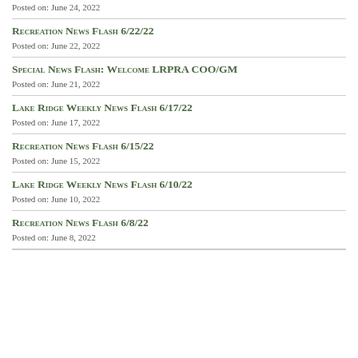Posted on: June 24, 2022
Recreation News Flash 6/22/22
Posted on: June 22, 2022
Special News Flash: Welcome LRPRA COO/GM
Posted on: June 21, 2022
Lake Ridge Weekly News Flash 6/17/22
Posted on: June 17, 2022
Recreation News Flash 6/15/22
Posted on: June 15, 2022
Lake Ridge Weekly News Flash 6/10/22
Posted on: June 10, 2022
Recreation News Flash 6/8/22
Posted on: June 8, 2022